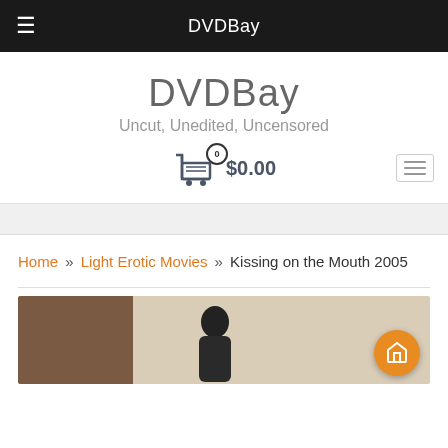DVDBay
DVDBay
Uncut, Unedited, Uncensored
$0.00
Home » Light Erotic Movies » Kissing on the Mouth 2005
[Figure (photo): Product image for Kissing on the Mouth 2005 movie, showing a partial scene with a figure]